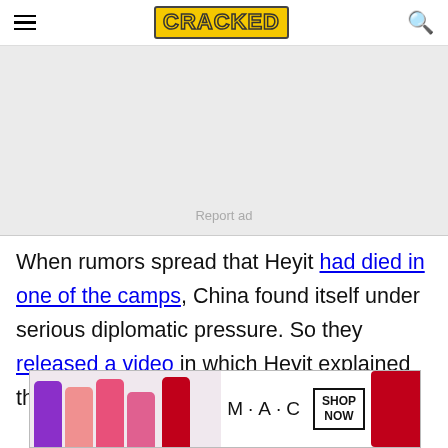CRACKED
[Figure (other): Advertisement placeholder box with 'Report ad' text in center-bottom]
When rumors spread that Heyit had died in one of the camps, China found itself under serious diplomatic pressure. So they released a video in which Heyit explained that he was totally fine! He's alive, being
[Figure (other): MAC cosmetics advertisement banner showing lipsticks and 'SHOP NOW' button]